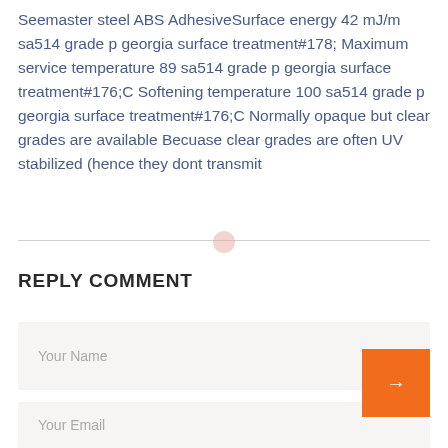Seemaster steel ABS AdhesiveSurface energy 42 mJ/m sa514 grade p georgia surface treatment#178; Maximum service temperature 89 sa514 grade p georgia surface treatment#176;C Softening temperature 100 sa514 grade p georgia surface treatment#176;C Normally opaque but clear grades are available Becuase clear grades are often UV stabilized (hence they dont transmit
REPLY COMMENT
Your Name
Your Email